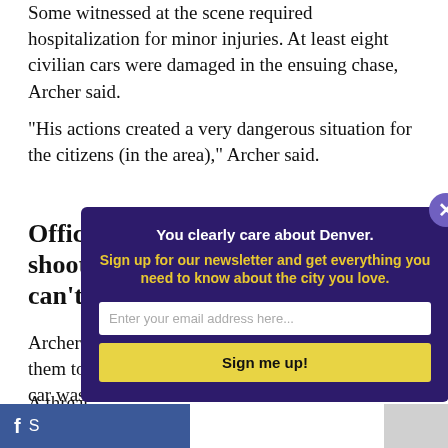Some witnessed at the scene required hospitalization for minor injuries. At least eight civilian cars were damaged in the ensuing chase, Archer said.
“His actions created a very dangerous situation for the citizens (in the area),” Archer said.
Officers are allowed to shoot into cars, but they can’t be moving
Archer s[...] them to [...] car was [...]
A threat [...] to respo[...] why Arc[...] believe [...]
[Figure (screenshot): Newsletter signup modal overlay with dark purple background. Headline: 'You clearly care about Denver.' Subtext in yellow: 'Sign up for our newsletter and get everything you need to know about the city you love.' Email input field and 'Sign me up!' button. Close button (X) in top-right corner.]
Facebook share button bar at bottom